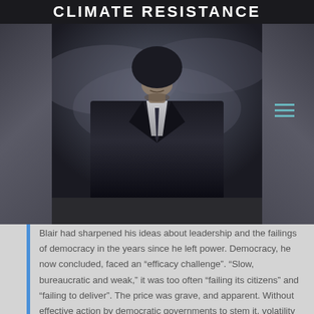CLIMATE RESISTANCE
[Figure (photo): A dark, dramatic portrait photo showing only the lower face and suited torso of a person, face partially obscured, against a stormy sky background. Hamburger menu icon in top right corner.]
Blair had sharpened his ideas about leadership and the failings of democracy in the years since he left power. Democracy, he now concluded, faced an “efficacy challenge”. “Slow, bureaucratic and weak,” it was too often “failing its citizens” and “failing to deliver”. The price was grave, and apparent. Without effective action by democratic governments to stem it, volatility and uncertainty were spreading. Public fear and disillusionment was stoking the return of the far Right in Europe and the United States. “Suddenly, to some, Putinism – the cult of the strong leader who goes